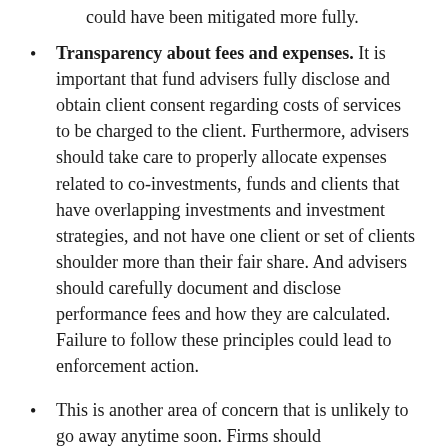Transparency about fees and expenses. It is important that fund advisers fully disclose and obtain client consent regarding costs of services to be charged to the client. Furthermore, advisers should take care to properly allocate expenses related to co-investments, funds and clients that have overlapping investments and investment strategies, and not have one client or set of clients shoulder more than their fair share. And advisers should carefully document and disclose performance fees and how they are calculated. Failure to follow these principles could lead to enforcement action.
This is another area of concern that is unlikely to go away anytime soon. Firms should